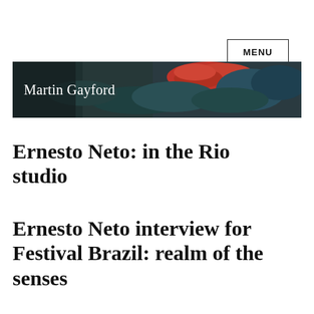MENU
[Figure (illustration): Martin Gayford website banner with colorful abstract painting background and white text reading 'Martin Gayford']
Ernesto Neto: in the Rio studio
Ernesto Neto interview for Festival Brazil: realm of the senses